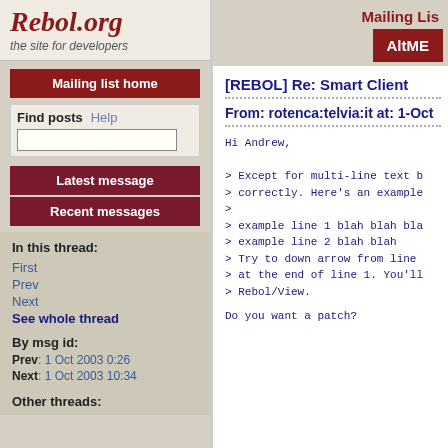Rebol.org – the site for developers
Mailing Lis
Mailing list home
Find posts  Help
Latest message
Recent messages
In this thread:
First
Prev
Next
See whole thread
By msg id:
Prev: 1 Oct 2003 0:26
Next: 1 Oct 2003 10:34
Other threads:
[REBOL] Re: Smart Client
From: rotenca:telvia:it at: 1-Oct
Hi Andrew,

> Except for multi-line text b
> correctly. Here's an example
>
> example line 1 blah blah bla
> example line 2 blah blah
> Try to down arrow from line
> at the end of line 1. You'll
> Rebol/View.

Do you want a patch?